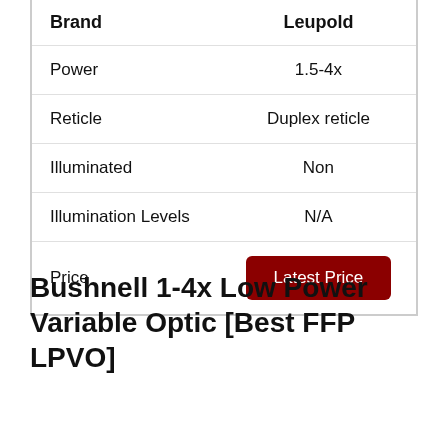| Brand | Leupold |
| --- | --- |
| Power | 1.5-4x |
| Reticle | Duplex reticle |
| Illuminated | Non |
| Illumination Levels | N/A |
| Price | Latest Price |
Bushnell 1-4x Low Power Variable Optic [Best FFP LPVO]